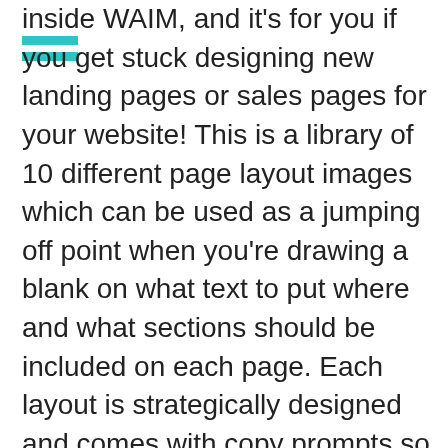inside WAIM, and it's for you if you get stuck designing new landing pages or sales pages for your website! This is a library of 10 different page layout images which can be used as a jumping off point when you're drawing a blank on what text to put where and what sections should be included on each page. Each layout is strategically designed and comes with copy prompts so you'll get a major head start on designing these pages.